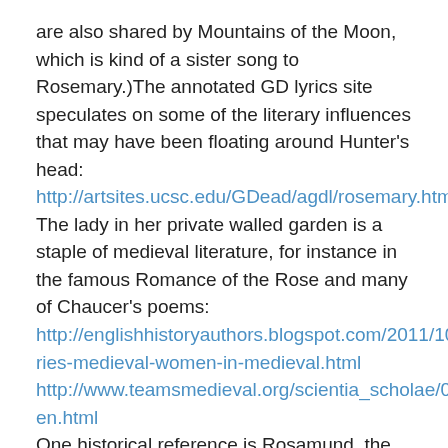are also shared by Mountains of the Moon, which is kind of a sister song to Rosemary.)The annotated GD lyrics site speculates on some of the literary influences that may have been floating around Hunter's head:
http://artsites.ucsc.edu/GDead/agdl/rosemary.html
The lady in her private walled garden is a staple of medieval literature, for instance in the famous Romance of the Rose and many of Chaucer's poems:
http://englishhistoryauthors.blogspot.com/2011/10/boundaries-medieval-women-in-medieval.html
http://www.teamsmedieval.org/scientia_scholae/0308/garden.html
One historical reference is Rosamund, the mistress of Henry II in the 12th century, who became famous in English romance and folklore. The story goes that Henry hid her in a bower garden surrounded by a forest labyrinth,